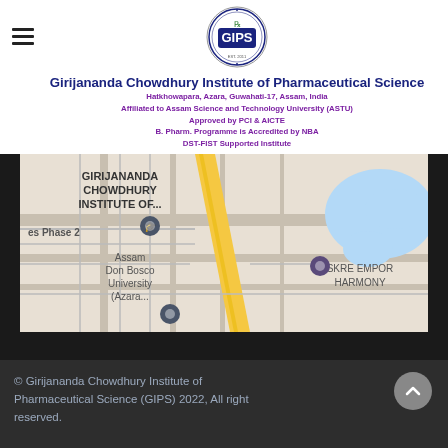[Figure (logo): GIPS circular logo with text 'Girijananda Chowdhury Institute of Pharmaceutical Science' around the border and GIPS in the center]
Girijananda Chowdhury Institute of Pharmaceutical Science
Hatkhowapara, Azara, Guwahati-17, Assam, India
Affiliated to Assam Science and Technology University (ASTU)
Approved by PCI & AICTE
B. Pharm. Programme is Accredited by NBA
DST-FIST Supported Institute
[Figure (map): Google Maps screenshot showing location of Girijananda Chowdhury Institute of Pharmaceutical Science near Assam Don Bosco University (Azara) and SKRE Emporium Harmony]
© Girijananda Chowdhury Institute of Pharmaceutical Science (GIPS) 2022, All right reserved.